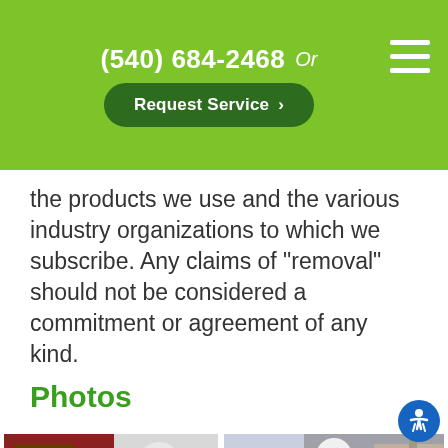(540) 684-2468  Or  Request Service >
the products we use and the various industry organizations to which we subscribe. Any claims of “removal” should not be considered a commitment or agreement of any kind.
Photos
[Figure (photo): Worker in white hazmat/protective suit spraying or cleaning inside a room with red walls and office furniture]
[Figure (photo): Worker in white hazmat/protective suit spraying or disinfecting a gym floor with treadmills and exercise equipment]
[Figure (photo): Partial view of gym equipment and blue walls, bottom-left photo]
[Figure (photo): Partial view of worker in white suit, bottom-right photo]